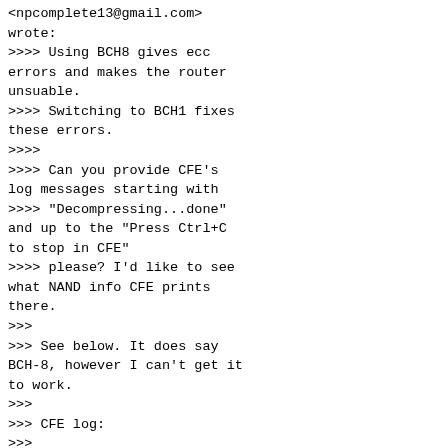<npcomplete13@gmail.com> wrote:
>>>> Using BCH8 gives ecc errors and makes the router unsuable.
>>>> Switching to BCH1 fixes these errors.
>>>>
>>>> Can you provide CFE's log messages starting with
>>>> "Decompressing...done" and up to the "Press Ctrl+C to stop in CFE"
>>>> please? I'd like to see what NAND info CFE prints there.
>>>
>>> See below. It does say BCH-8, however I can't get it to work.
>>>
>>> CFE log:
>>>
>>> Decompressing...done
>>> Found a Toshiba NAND flash:
>>> Total size:  128MB
>>> Block size:  128KB
>>> Page Size:   2048B
>>> OOB Size:    64B